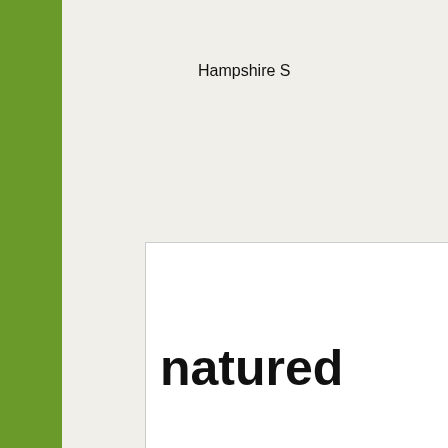Hampshire S
[Figure (logo): naturedetectives logo — bold rounded text 'nature d...' on white background]
Woodland Tru
[Figure (logo): BMW logo circle badge with 'safe on t...' text in bold blue]
BMW Education site about road s
Find out how to stay safe on the street with fun a
Great for those Cubs do